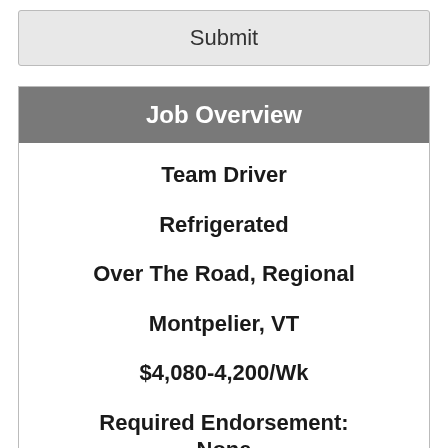Submit
Job Overview
Team Driver
Refrigerated
Over The Road, Regional
Montpelier, VT
$4,080-4,200/Wk
Required Endorsement: None
Required Experience: 1-2 Years